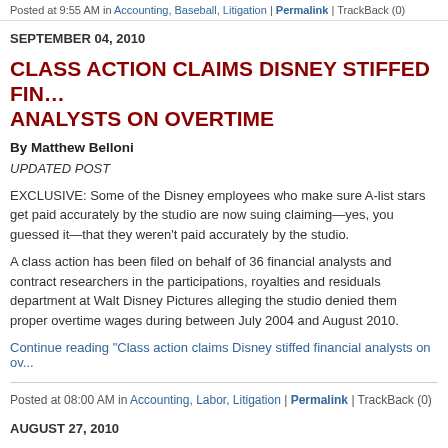Posted at 9:55 AM in Accounting, Baseball, Litigation | Permalink | TrackBack (0)
SEPTEMBER 04, 2010
CLASS ACTION CLAIMS DISNEY STIFFED FINANCIAL ANALYSTS ON OVERTIME
By Matthew Belloni
UPDATED POST
EXCLUSIVE: Some of the Disney employees who make sure A-list stars get paid accurately by the studio are now suing claiming—yes, you guessed it—that they weren't paid accurately by the studio.
A class action has been filed on behalf of 36 financial analysts and contract researchers in the participations, royalties and residuals department at Walt Disney Pictures alleging the studio denied them proper overtime wages during between July 2004 and August 2010.
Continue reading "Class action claims Disney stiffed financial analysts on overtime"
Posted at 08:00 AM in Accounting, Labor, Litigation | Permalink | TrackBack (0)
AUGUST 27, 2010